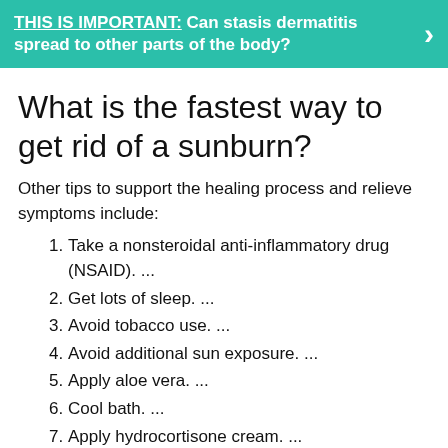THIS IS IMPORTANT: Can stasis dermatitis spread to other parts of the body?
What is the fastest way to get rid of a sunburn?
Other tips to support the healing process and relieve symptoms include:
Take a nonsteroidal anti-inflammatory drug (NSAID). ...
Get lots of sleep. ...
Avoid tobacco use. ...
Avoid additional sun exposure. ...
Apply aloe vera. ...
Cool bath. ...
Apply hydrocortisone cream. ...